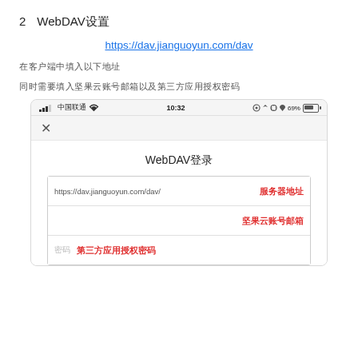2  WebDAV设置
https://dav.jianguoyun.com/dav
在客户端中填入以下地址
同时需要填入坚果云账号邮箱以及第三方应用授权密码
[Figure (screenshot): Mobile screenshot showing WebDAV login screen with fields for server address (https://dav.jianguoyun.com/dav/ 服务器地址), 坚果云账号邮箱, and 密码 / 第三方应用授权密码]